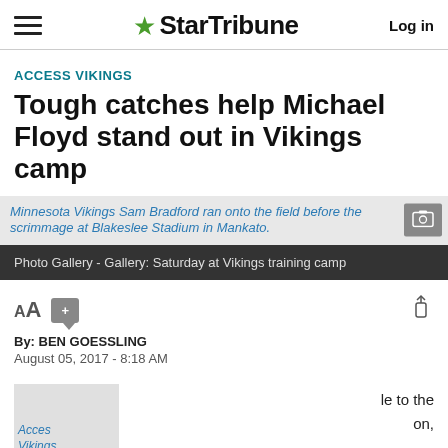StarTribune - Log in
ACCESS VIKINGS
Tough catches help Michael Floyd stand out in Vikings camp
[Figure (photo): Minnesota Vikings Sam Bradford ran onto the field before the scrimmage at Blakeslee Stadium in Mankato.]
Photo Gallery - Gallery: Saturday at Vikings training camp
By: BEN GOESSLING
August 05, 2017 - 8:18 AM
[Figure (photo): Acces Vikings - partial image visible at bottom left]
le to the on,